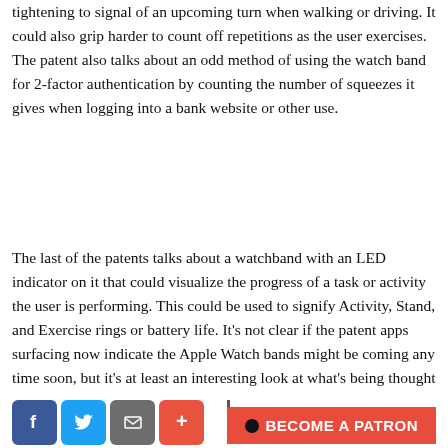tightening to signal of an upcoming turn when walking or driving. It could also grip harder to count off repetitions as the user exercises. The patent also talks about an odd method of using the watch band for 2-factor authentication by counting the number of squeezes it gives when logging into a bank website or other use.
The last of the patents talks about a watchband with an LED indicator on it that could visualize the progress of a task or activity the user is performing. This could be used to signify Activity, Stand, and Exercise rings or battery life. It's not clear if the patent apps surfacing now indicate the Apple Watch bands might be coming any time soon, but it's at least an interesting look at what's being thought up for a [potential] future release. Apple recently announced it would fix cracked screens on some Apple Watch models free of charge.